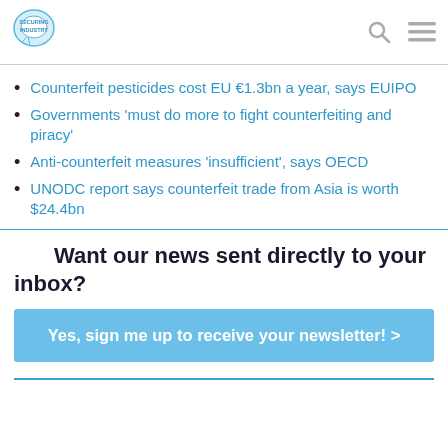Securing Industry
Counterfeit pesticides cost EU €1.3bn a year, says EUIPO
Governments 'must do more to fight counterfeiting and piracy'
Anti-counterfeit measures 'insufficient', says OECD
UNODC report says counterfeit trade from Asia is worth $24.4bn
Want our news sent directly to your inbox?
Yes, sign me up to receive your newsletter! >